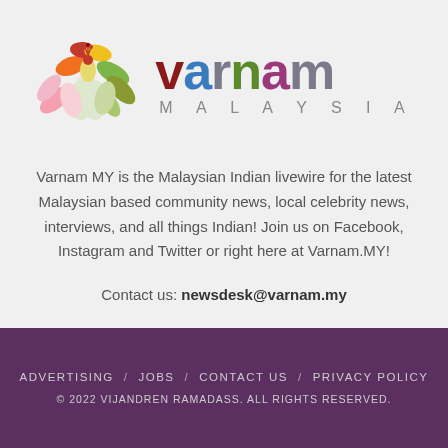[Figure (logo): Varnam Malaysia logo: colorful lotus/peacock feather illustration on the left with the text 'varnam' in multicolored bold letters and 'MALAYSIA' in spaced gray letters below]
Varnam MY is the Malaysian Indian livewire for the latest Malaysian based community news, local celebrity news, interviews, and all things Indian! Join us on Facebook, Instagram and Twitter or right here at Varnam.MY!
Contact us: newsdesk@varnam.my
ADVERTISING / JOBS / CONTACT US / PRIVACY POLICY © 2022 VIJANDREN RAMADASS. ALL RIGHTS RESERVED.